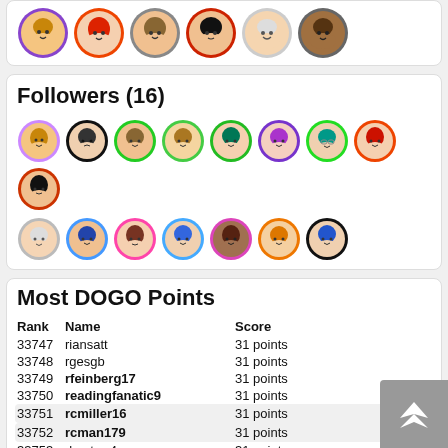[Figure (illustration): Row of 6 anime-style avatar icons with colored borders at top of page]
Followers (16)
[Figure (illustration): Grid of 16 anime-style follower avatar icons with colored circle borders]
Most DOGO Points
| Rank | Name | Score |
| --- | --- | --- |
| 33747 | riansatt | 31 points |
| 33748 | rgesgb | 31 points |
| 33749 | rfeinberg17 | 31 points |
| 33750 | readingfanatic9 | 31 points |
| 33751 | rcmiller16 | 31 points |
| 33752 | rcman179 | 31 points |
| 33753 | rbaxterr4 | 31 points |
| 33754 | rayray_kaykay | 31 points |
| 33755 | rayalvie | 31 points |
| 33756 | rajanei | 31 points |